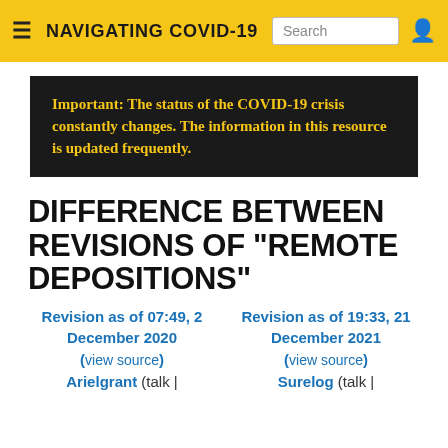NAVIGATING COVID-19
Important: The status of the COVID-19 crisis constantly changes. The information in this resource is updated frequently.
DIFFERENCE BETWEEN REVISIONS OF "REMOTE DEPOSITIONS"
Revision as of 07:49, 2 December 2020 (view source)
Arielgrant (talk |
Revision as of 19:33, 21 December 2021 (view source)
Surelog (talk |